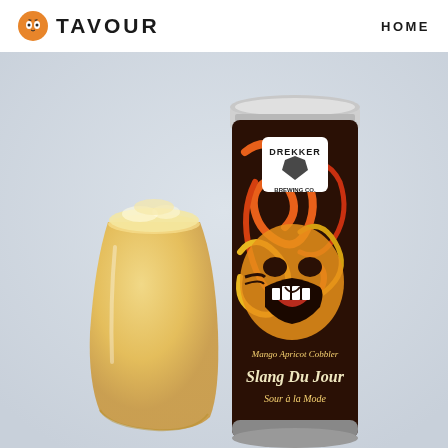TAVOUR   HOME
[Figure (photo): Product photo of a Drekker Brewing Co. beer can labeled 'Slang Du Jour - Sour à la Mode - Mango Apricot Cobbler' with colorful psychedelic art featuring a face with an open mouth, alongside a glass of hazy golden/orange beer, set against a light blue-grey background.]